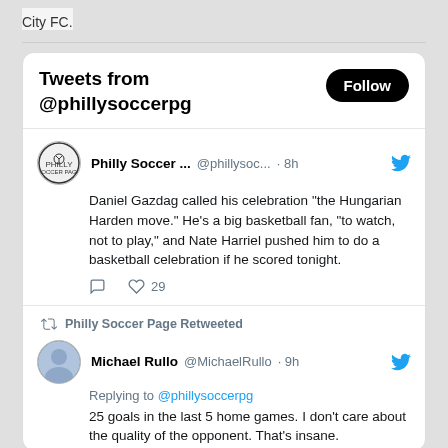City FC.
Tweets from @phillysoccerpg
Philly Soccer ... @phillysoc... · 8h
Daniel Gazdag called his celebration "the Hungarian Harden move." He's a big basketball fan, "to watch, not to play," and Nate Harriel pushed him to do a basketball celebration if he scored tonight.
29
Philly Soccer Page Retweeted
Michael Rullo @MichaelRullo · 9h
Replying to @phillysoccerpg
25 goals in the last 5 home games. I don't care about the quality of the opponent. That's insane.